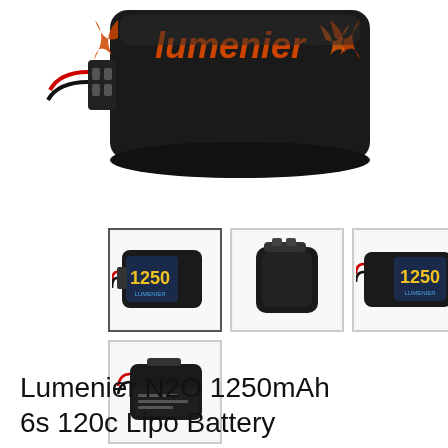[Figure (photo): Close-up photo of Lumenier N2O LiPo battery, black body with orange Lumenier logo/text, showing connector end, on white background]
[Figure (photo): Thumbnail 1: Lumenier N2O 1250mAh 6s LiPo battery showing front label with '1250' in yellow text]
[Figure (photo): Thumbnail 2: Lumenier N2O LiPo battery from rear/top angle showing black body]
[Figure (photo): Thumbnail 3: Lumenier N2O 1250mAh 6s LiPo battery showing side label with '1250' in yellow text]
[Figure (photo): Thumbnail 4: Lumenier N2O 1250mAh 6s LiPo battery from top showing label/specifications]
Lumenier N2O 1250mAh 6s 120c Lipo Battery